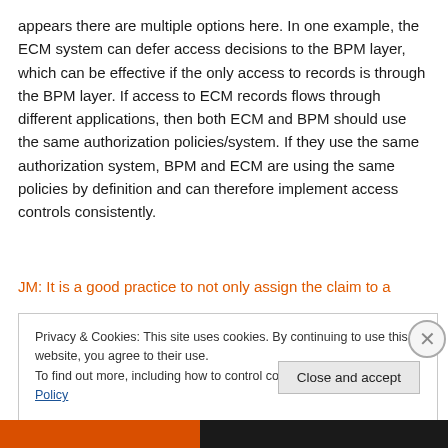appears there are multiple options here. In one example, the ECM system can defer access decisions to the BPM layer, which can be effective if the only access to records is through the BPM layer. If access to ECM records flows through different applications, then both ECM and BPM should use the same authorization policies/system. If they use the same authorization system, BPM and ECM are using the same policies by definition and can therefore implement access controls consistently.
JM: It is a good practice to not only assign the claim to a
Privacy & Cookies: This site uses cookies. By continuing to use this website, you agree to their use.
To find out more, including how to control cookies, see here: Cookie Policy